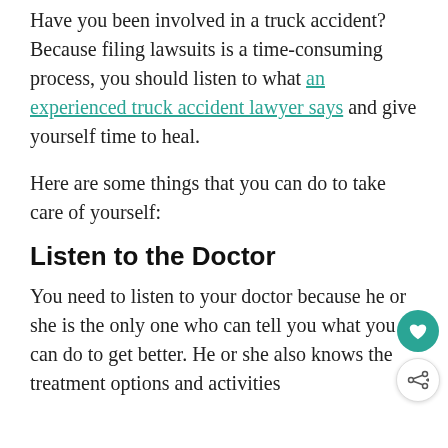Have you been involved in a truck accident? Because filing lawsuits is a time-consuming process, you should listen to what an experienced truck accident lawyer says and give yourself time to heal.
Here are some things that you can do to take care of yourself:
Listen to the Doctor
You need to listen to your doctor because he or she is the only one who can tell you what you can do to get better. He or she also knows the treatment options and activities